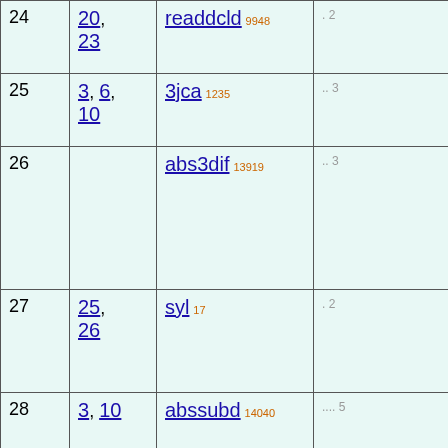| # | Refs | Name | Dots |
| --- | --- | --- | --- |
| 24 | 20, 23 | readdcld 9948 | . 2 |
| 25 | 3, 6, 10 | 3jca 1235 | .. 3 |
| 26 |  | abs3dif 13919 | .. 3 |
| 27 | 25, 26 | syl 17 | . 2 |
| 28 | 3, 10 | abssubd 14040 | .... 5 |
| 29 |  | rddif2 31637 | ...... 7 |